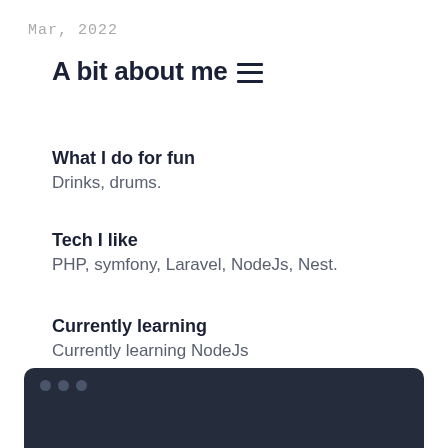Mar, 2022
A bit about me
What I do for fun
Drinks, drums.
Tech I like
PHP, symfony, Laravel, NodeJs, Nest.
Currently learning
Currently learning NodeJs
[Figure (screenshot): Dark terminal/code editor window with three circular dots (traffic light buttons) visible at the top left, partially cropped at the bottom of the page.]